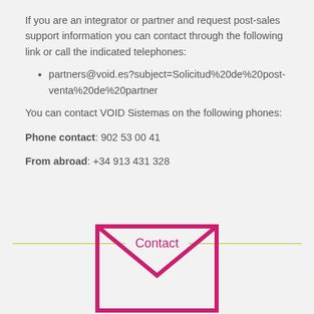If you are an integrator or partner and request post-sales support information you can contact through the following link or call the indicated telephones:
partners@void.es?subject=Solicitud%20de%20post-venta%20de%20partner
You can contact VOID Sistemas on the following phones:
Phone contact: 902 53 00 41
From abroad: +34 913 431 328
Contact
[Figure (illustration): Envelope icon outline in magenta/pink color]